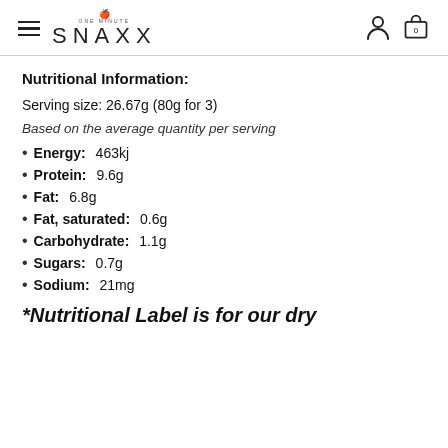SNAXX (One Minute Snaxx logo with hamburger menu, person icon, and bag icon with 0)
Nutritional Information:
Serving size: 26.67g (80g for 3)
Based on the average quantity per serving
Energy: 463kj
Protein: 9.6g
Fat: 6.8g
Fat, saturated: 0.6g
Carbohydrate: 1.1g
Sugars: 0.7g
Sodium: 21mg
*Nutritional Label is for our dry